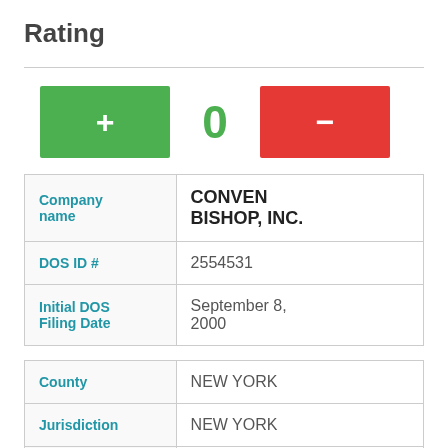Rating
[Figure (infographic): Rating controls: green plus button, 0 value in green, red minus button]
| Company name | CONVEN BISHOP, INC. |
| DOS ID # | 2554531 |
| Initial DOS Filing Date | September 8, 2000 |
| County | NEW YORK |
| Jurisdiction | NEW YORK |
| Company | DOMESTIC |